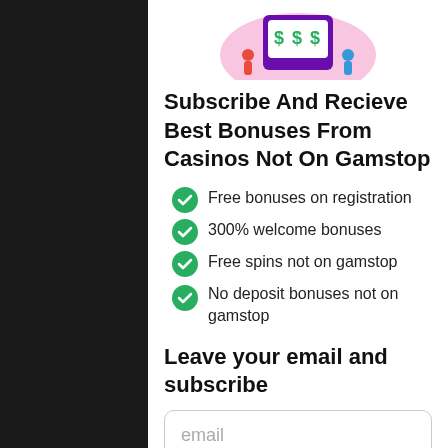[Figure (illustration): Slot machine illustration with dollar signs and people celebrating, on a pink oval background]
Subscribe And Recieve Best Bonuses From Casinos Not On Gamstop
Free bonuses on registration
300% welcome bonuses
Free spins not on gamstop
No deposit bonuses not on gamstop
Leave your email and subscribe
email
Subscribe